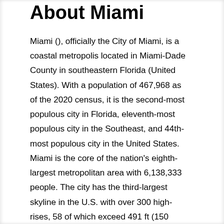About Miami
Miami (), officially the City of Miami, is a coastal metropolis located in Miami-Dade County in southeastern Florida (United States). With a population of 467,968 as of the 2020 census, it is the second-most populous city in Florida, eleventh-most populous city in the Southeast, and 44th-most populous city in the United States. Miami is the core of the nation's eighth-largest metropolitan area with 6,138,333 people. The city has the third-largest skyline in the U.S. with over 300 high-rises, 58 of which exceed 491 ft (150 m).Miami is a major center and leader in finance, commerce, culture, arts, and international trade. The metro area is by far the largest urban economy in Florida and the